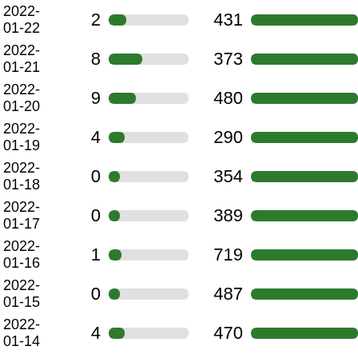[Figure (bar-chart): Daily counts table with inline bar charts]